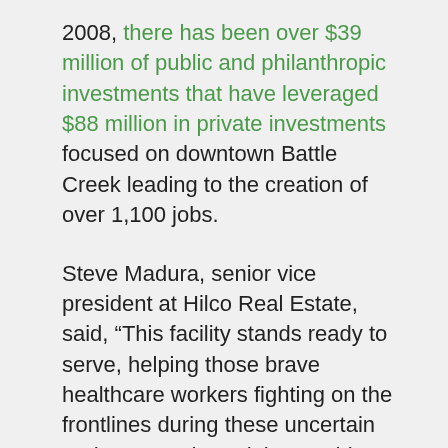2008, there has been over $39 million of public and philanthropic investments that have leveraged $88 million in private investments focused on downtown Battle Creek leading to the creation of over 1,100 jobs.
Steve Madura, senior vice president at Hilco Real Estate, said, “This facility stands ready to serve, helping those brave healthcare workers fighting on the frontlines during these uncertain and unprecedented times. This property offers a host of desirable amenities that are well suited for a variety of future uses.” He continued, “We are hopeful that the sale of this property will allow the facility to be put back into productive use in order to serve those impacted by the current pandemic, as well as the citizens of Battle Creek and others throughout the region for years to come.